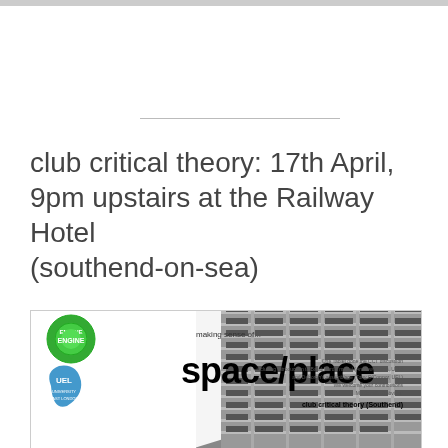club critical theory: 17th April, 9pm upstairs at the Railway Hotel (southend-on-sea)
[Figure (illustration): Promotional poster for 'making sense of... space/place' event by club critical theory (Southend). Features an upward-angle black and white photo of a modernist building facade, with a green Engine logo and blue UEL logo in the top left, large bold 'space/place' text, and event details text on the right.]